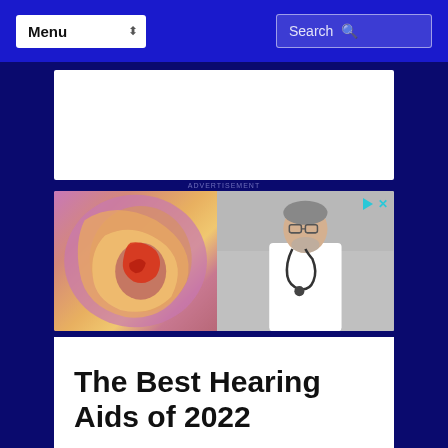Menu | Search
[Figure (other): White advertisement placeholder box]
[Figure (photo): Medical advertisement showing a cross-section anatomical diagram of the ear on the left side and a doctor in a white coat with stethoscope on the right side, with ad indicator icons (play triangle and X) in top right corner]
The Best Hearing Aids of 2022